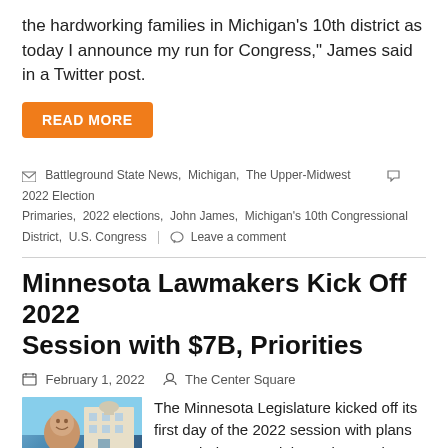the hardworking families in Michigan's 10th district as today I announce my run for Congress," James said in a Twitter post.
READ MORE
Battleground State News, Michigan, The Upper-Midwest  2022 Election Primaries, 2022 elections, John James, Michigan's 10th Congressional District, U.S. Congress  Leave a comment
Minnesota Lawmakers Kick Off 2022 Session with $7B, Priorities
February 1, 2022   The Center Square
[Figure (photo): Photo of a man in a suit smiling in front of a building]
The Minnesota Legislature kicked off its first day of the 2022 session with plans to crack down on violent crime and spend down $7.7 billion of taxpayer surplus.
Senate Republicans are targeting tax cuts, reducing crime, and